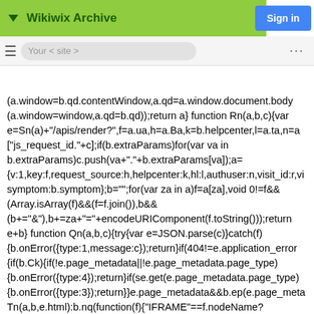Wikiwix Archive
Sign in
(a.window=b.qd.contentWindow,a.qd=a.window.document.body
(a.window=window,a.qd=b.qd));return a} function Rn(a,b,c){var
e=Sn(a)+"/apis/render?",f=a.ua,h=a.Ba,k=b.helpcenter,l=a.ta,n=a
["js_request_id."+c];if(b.extraParams)for(var va in
b.extraParams)c.push(va+"."+b.extraParams[va]);a=
{v:1,key:f,request_source:h,helpcenter:k,hl:l,authuser:n,visit_id:r,vi
symptom:b.symptom};b="";for(var za in a)f=a[za],void 0!=f&&
(Array.isArray(f)&&(f=f.join()),b&&
(b+="&"),b+=za+"="+encodeURIComponent(f.toString()));return
e+b} function Qn(a,b,c){try{var e=JSON.parse(c)}catch(f)
{b.onError({type:1,message:c});return}if(404!=e.application_error
{if(b.Ck){if(!e.page_metadata||!e.page_metadata.page_type)
{b.onError({type:4});return}if(se.get(e.page_metadata.page_type)
{b.onError({type:3});return}}e.page_metadata&&b.ep(e.page_meta
Tn(a,b,e.html):b.nq(function(f){"IFRAME"==f.nodeName?
(b.window=f.contentWindow,b.qd=b.window.document.body):
(b.window=window,b.qd=f);Tn(a,b,e.html)})}else
b.onError({type:2})} function Tn(a,b,c)
{b.window.sc_scope=b.qd;b.onLoad&&